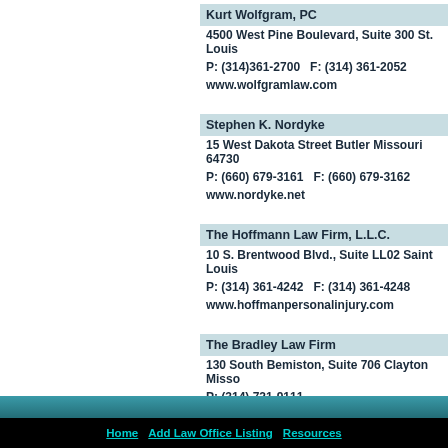Kurt Wolfgram, PC
4500 West Pine Boulevard, Suite 300 St. Louis
P: (314)361-2700   F: (314) 361-2052
www.wolfgramlaw.com
Stephen K. Nordyke
15 West Dakota Street Butler Missouri 64730
P: (660) 679-3161   F: (660) 679-3162
www.nordyke.net
The Hoffmann Law Firm, L.L.C.
10 S. Brentwood Blvd., Suite LL02 Saint Louis
P: (314) 361-4242   F: (314) 361-4248
www.hoffmanpersonalinjury.com
The Bradley Law Firm
130 South Bemiston, Suite 706 Clayton Misso
P: (314) 721-9111
www.accidentmissourilawyer.com
Home   Add Law Office Listing   Resources